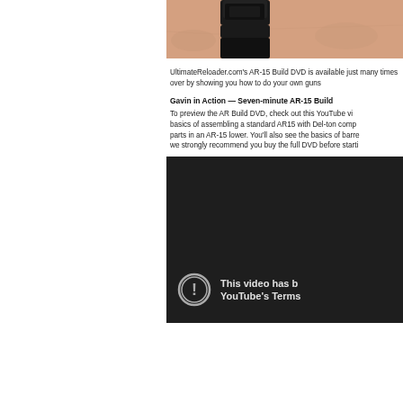[Figure (photo): Cropped photo showing a person's wrist/arm with a dark watch, skin visible, partial view from top]
UltimateReloader.com's AR-15 Build DVD is available just... many times over by showing you how to do your own guns...
Gavin in Action — Seven-minute AR-15 Build
To preview the AR Build DVD, check out this YouTube vi... basics of assembling a standard AR15 with Del-ton comp... parts in an AR-15 lower. You'll also see the basics of barre... we strongly recommend you buy the full DVD before starti...
[Figure (screenshot): YouTube video embed showing dark background with error icon (exclamation mark in circle) and text 'This video has b... YouTube's Terms...' indicating video has been removed for violating YouTube's Terms of Service]